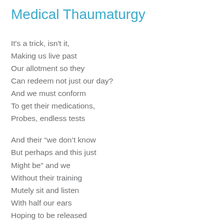Medical Thaumaturgy
It's a trick, isn't it,
Making us live past
Our allotment so they
Can redeem not just our day?
And we must conform
To get their medications,
Probes, endless tests
And their “we don’t know
But perhaps and this just
Might be” and we
Without their training
Mutely sit and listen
With half our ears
Hoping to be released
And perhaps get some
Dinner at a restaurant
On our long way home